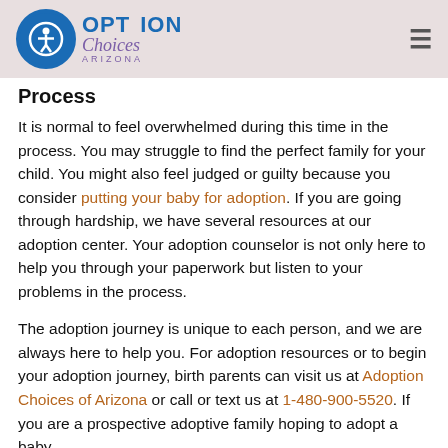Option Choices Arizona [logo with navigation]
Process
It is normal to feel overwhelmed during this time in the process. You may struggle to find the perfect family for your child. You might also feel judged or guilty because you consider putting your baby for adoption. If you are going through hardship, we have several resources at our adoption center. Your adoption counselor is not only here to help you through your paperwork but listen to your problems in the process.
The adoption journey is unique to each person, and we are always here to help you. For adoption resources or to begin your adoption journey, birth parents can visit us at Adoption Choices of Arizona or call or text us at 1-480-900-5520. If you are a prospective adoptive family hoping to adopt a baby